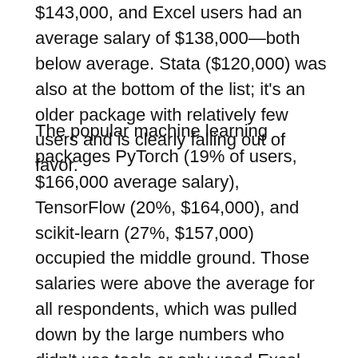$143,000, and Excel users had an average salary of $138,000—both below average. Stata ($120,000) was also at the bottom of the list; it's an older package with relatively few users and is clearly falling out of favor.
The popular machine learning packages PyTorch (19% of users, $166,000 average salary), TensorFlow (20%, $164,000), and scikit-learn (27%, $157,000) occupied the middle ground. Those salaries were above the average for all respondents, which was pulled down by the large numbers who didn't use tools or only used Excel. The highest salaries were associated with H2O (3%, $183,000), KNIME (2%, $180,000), Spark NLP (5%, $179,000), and Spark MLlib (8%, $175,000). It's hard to trust conclusions based on 2% or 3% of the respondents, but it appears that salaries are higher for people who work with tools that have a lot of “buzz” but aren't yet widely used. Employers pay a premium for